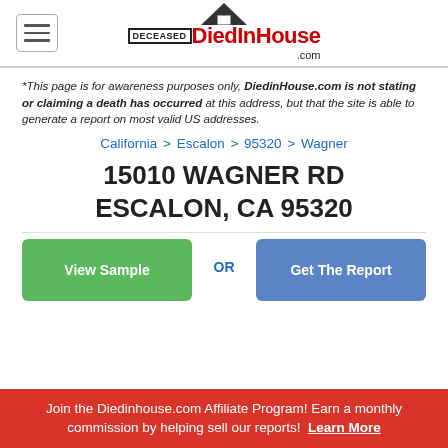[Figure (logo): DiedInHouse.com logo with house icon, DECEASED box, and red DiedInHouse text]
*This page is for awareness purposes only, DiedinHouse.com is not stating or claiming a death has occurred at this address, but that the site is able to generate a report on most valid US addresses.
California > Escalon > 95320 > Wagner
15010 WAGNER RD ESCALON, CA 95320
View Sample
OR
Get The Report
Join the Diedinhouse.com Affiliate Program! Earn a monthly commission by helping sell our reports!  Learn More